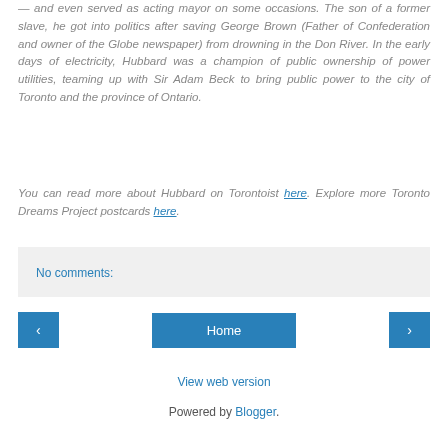— and even served as acting mayor on some occasions. The son of a former slave, he got into politics after saving George Brown (Father of Confederation and owner of the Globe newspaper) from drowning in the Don River. In the early days of electricity, Hubbard was a champion of public ownership of power utilities, teaming up with Sir Adam Beck to bring public power to the city of Toronto and the province of Ontario.
You can read more about Hubbard on Torontoist here. Explore more Toronto Dreams Project postcards here.
No comments:
Home
View web version
Powered by Blogger.